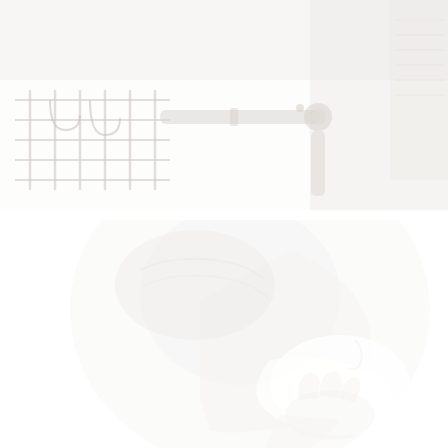[Figure (photo): Top portion: A bathroom/utility room scene showing a metal wire rack/shelf with hooks, a metal industrial pipe with an elbow joint connector, all mounted against a white wall. On the right edge there is a white textured object (possibly woven/macrame). The image is highly overexposed and nearly washed out in white tones.]
[Figure (photo): Bottom portion: A man shown in profile (facing right) applying shaving cream or foam to his beard/jaw area with his hand. He has short dark hair. The image is heavily overexposed/faded, predominantly white with very faint color detail. The background is white.]